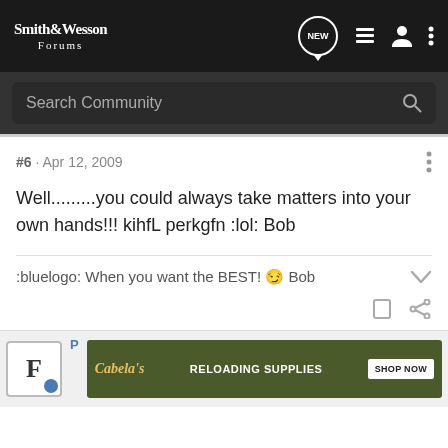Smith & Wesson Forums
#6 · Apr 12, 2009
Well.........you could always take matters into your own hands!!! kihfL perkgfn :lol: Bob
:bluelogo: When you want the BEST! 😏 Bob
[Figure (screenshot): Cabela's Reloading Supplies advertisement banner with Shop Now button]